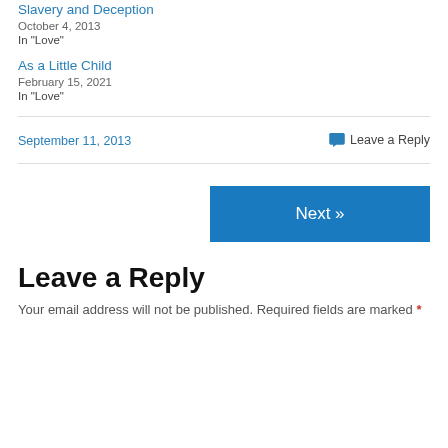Slavery and Deception
October 4, 2013
In "Love"
As a Little Child
February 15, 2021
In "Love"
September 11, 2013
Leave a Reply
Next »
Leave a Reply
Your email address will not be published. Required fields are marked *